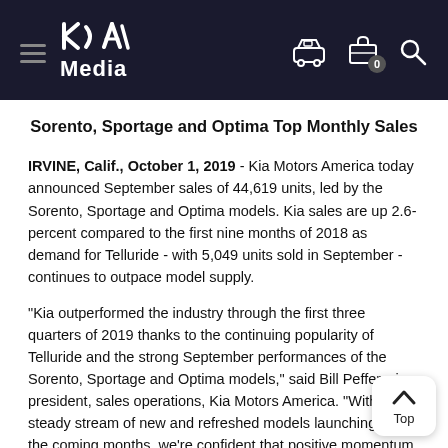Kia Media
Sorento, Sportage and Optima Top Monthly Sales
IRVINE, Calif., October 1, 2019 - Kia Motors America today announced September sales of 44,619 units, led by the Sorento, Sportage and Optima models. Kia sales are up 2.6-percent compared to the first nine months of 2018 as demand for Telluride - with 5,049 units sold in September - continues to outpace model supply.
“Kia outperformed the industry through the first three quarters of 2019 thanks to the continuing popularity of Telluride and the strong September performances of the Sorento, Sportage and Optima models,” said Bill Peffer, vice president, sales operations, Kia Motors America. “With Kia’s steady stream of new and refreshed models launching over the coming months, we’re confident that positive momentum and increased brand consideration